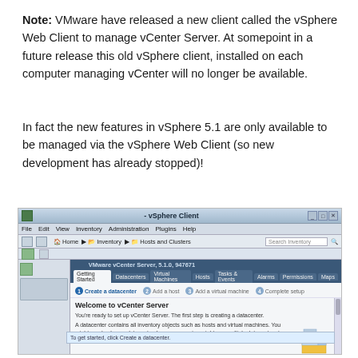Note: VMware have released a new client called the vSphere Web Client to manage vCenter Server. At somepoint in a future release this old vSphere client, installed on each computer managing vCenter will no longer be available.
In fact the new features in vSphere 5.1 are only available to be managed via the vSphere Web Client (so new development has already stopped)!
[Figure (screenshot): Screenshot of VMware vSphere Client application showing the vCenter Server Getting Started page with steps to Create a datacenter, Add a host, Add a virtual machine, and Complete setup. The Welcome to vCenter Server panel is visible with informational text about creating a datacenter.]